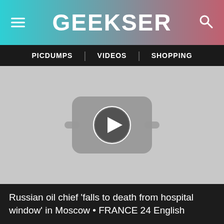GEEKSER
PICDUMPS | VIDEOS | SHOPPING
[Figure (screenshot): Video thumbnail placeholder showing a grayed-out YouTube-style play button icon on a light gray background]
Russian oil chief ‘falls to death from hospital window’ in Moscow • FRANCE 24 English